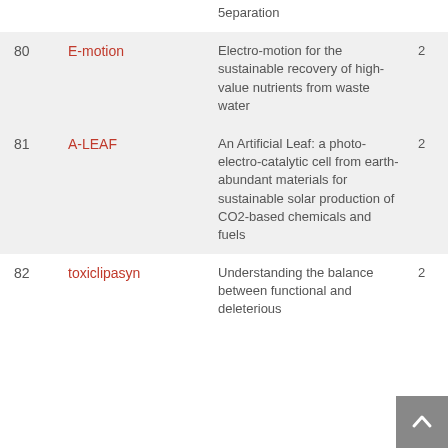| # | Name | Description | Year |
| --- | --- | --- | --- |
|  |  | 5eparation |  |
| 80 | E-motion | Electro-motion for the sustainable recovery of high-value nutrients from waste water | 2 |
| 81 | A-LEAF | An Artificial Leaf: a photo-electro-catalytic cell from earth-abundant materials for sustainable solar production of CO2-based chemicals and fuels | 2 |
| 82 | toxiclipasyn | Understanding the balance between functional and deleterious | 2 |